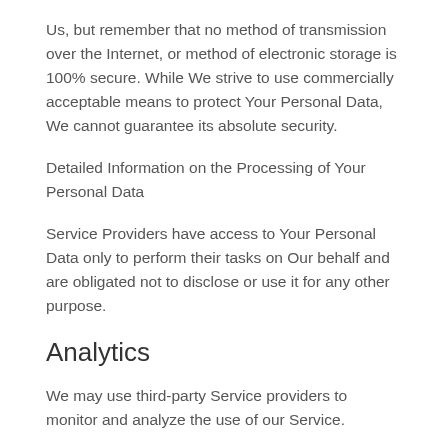Us, but remember that no method of transmission over the Internet, or method of electronic storage is 100% secure. While We strive to use commercially acceptable means to protect Your Personal Data, We cannot guarantee its absolute security.
Detailed Information on the Processing of Your Personal Data
Service Providers have access to Your Personal Data only to perform their tasks on Our behalf and are obligated not to disclose or use it for any other purpose.
Analytics
We may use third-party Service providers to monitor and analyze the use of our Service.
Google Analytics